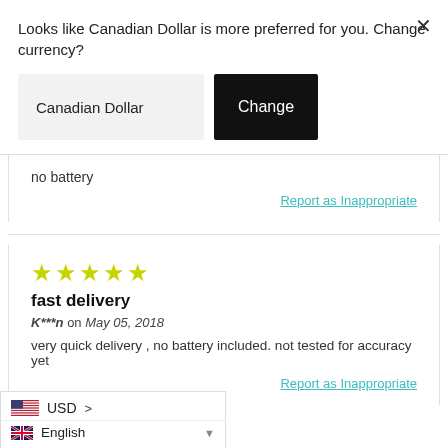Looks like Canadian Dollar is more preferred for you. Change currency?
Canadian Dollar
Change
no battery
Report as Inappropriate
fast delivery
K***n on May 05, 2018
very quick delivery , no battery included. not tested for accuracy yet
Report as Inappropriate
USD >
English